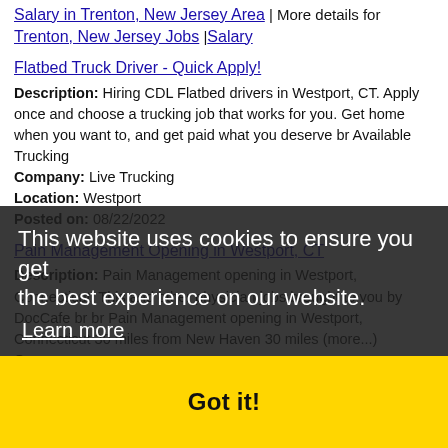Salary in Trenton, New Jersey Area | More details for Trenton, New Jersey Jobs |Salary
Flatbed Truck Driver - Quick Apply!
Description: Hiring CDL Flatbed drivers in Westport, CT. Apply once and choose a trucking job that works for you. Get home when you want to, and get paid what you deserve br Available Trucking
Company: Live Trucking
Location: Westport
Posted on: 08/22/2022
Pain Management Opening in Westport, CT
Description: Pain Management opening in Westport, Connecticut. This and other physician jobs brought to you by DocCafe br br Pain Management opening in Westport, Connecticut 30 miles from New Haven 30 miles (more...)
Company:
Location: Westport
Posted on: 08/22/2022
Vascular Technologist - Sign On Bonus Opportunity
Description: NAVIX is dedicated to providing superior diagnostic services that improve patient outcomes. Our passion and dedication to our patients and our employees are what sets us
This website uses cookies to ensure you get the best experience on our website.
Learn more
Got it!